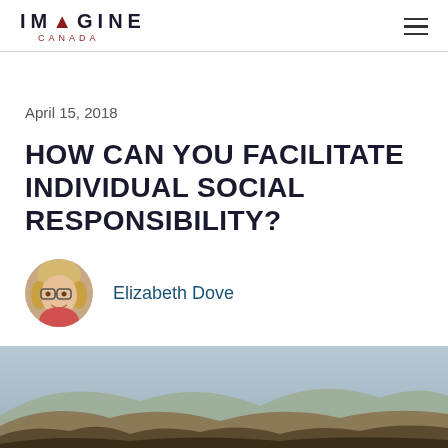IMAGINE CANADA
April 15, 2018
HOW CAN YOU FACILITATE INDIVIDUAL SOCIAL RESPONSIBILITY?
Elizabeth Dove
[Figure (photo): Outdoor landscape photo showing hills or mountains with muted earthy tones, brown vegetation in the foreground and a sky in the background, partially visible at the bottom of the page.]